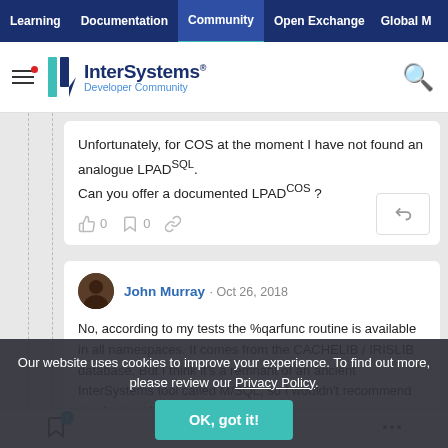Learning | Documentation | Community | Open Exchange | Global M
[Figure (logo): InterSystems Developer Community logo with hamburger menu and search icon]
Unfortunately, for COS at the moment I have not found an analogue LPADSQL.
Can you offer a documented LPADCOS ?
John Murray · Oct 26, 2018
No, according to my tests the %qarfunc routine is available in all namespaces. It comes from the CACHELIB / IRISLIB database. But I think it's a remnant of an ancient InterSystems tool called M/SQL, so I wouldn't recommend starting to rely on it in new code
Our website uses cookies to improve your experience. To find out more, please review our Privacy Policy.